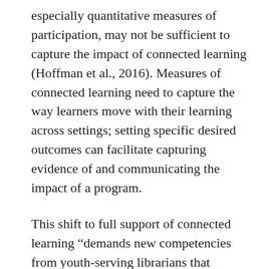especially quantitative measures of participation, may not be sufficient to capture the impact of connected learning (Hoffman et al., 2016). Measures of connected learning need to capture the way learners move with their learning across settings; setting specific desired outcomes can facilitate capturing evidence of and communicating the impact of a program.
This shift to full support of connected learning “demands new competencies from youth-serving librarians that graduate programs in library and information science do not always provide, and may require a shift in thinking for some librarians and